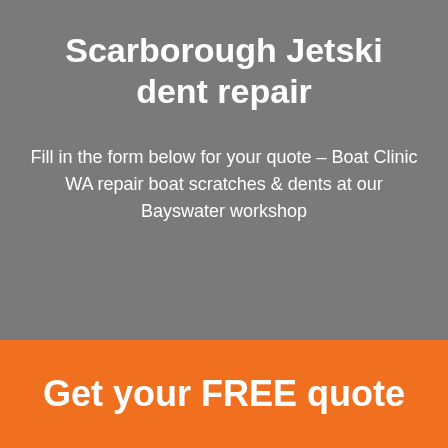Scarborough Jetski dent repair
Fill in the form below for your quote – Boat Clinic WA repair boat scratches & dents at our Bayswater workshop
Get your FREE quote